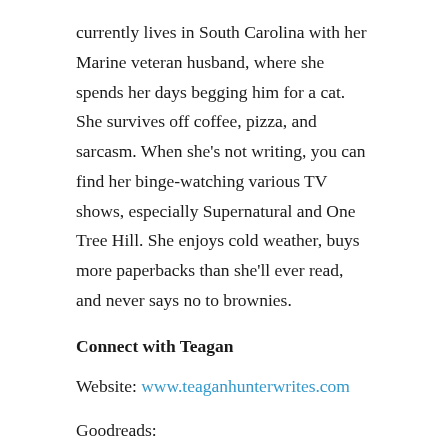currently lives in South Carolina with her Marine veteran husband, where she spends her days begging him for a cat. She survives off coffee, pizza, and sarcasm. When she’s not writing, you can find her binge-watching various TV shows, especially Supernatural and One Tree Hill. She enjoys cold weather, buys more paperbacks than she’ll ever read, and never says no to brownies.
Connect with Teagan
Website: www.teaganhunterwrites.com
Goodreads:
https://www.goodreads.com/author/show/13263928.Teagan_Hunter